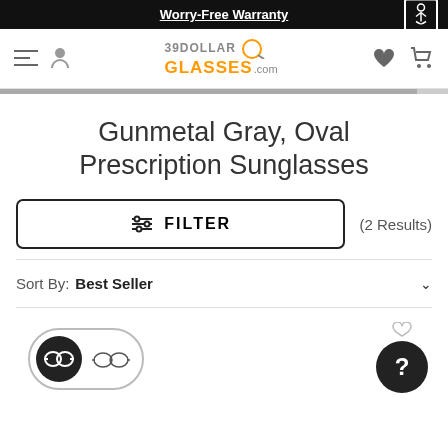Worry-Free Warranty
[Figure (logo): 39DollarGlasses.com logo with navigation icons (hamburger menu, user icon, heart, cart)]
Gunmetal Gray, Oval Prescription Sunglasses
FILTER (2 Results)
Sort By: Best Seller
[Figure (screenshot): Product view toggle showing two eyeglass frame style icons and a help/question mark button]